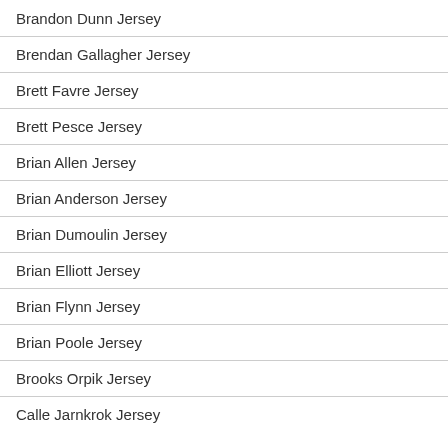Brandon Dunn Jersey
Brendan Gallagher Jersey
Brett Favre Jersey
Brett Pesce Jersey
Brian Allen Jersey
Brian Anderson Jersey
Brian Dumoulin Jersey
Brian Elliott Jersey
Brian Flynn Jersey
Brian Poole Jersey
Brooks Orpik Jersey
Calle Jarnkrok Jersey